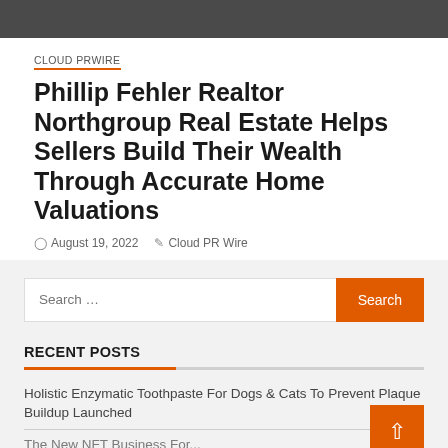CLOUD PRWIRE
Phillip Fehler Realtor Northgroup Real Estate Helps Sellers Build Their Wealth Through Accurate Home Valuations
August 19, 2022   Cloud PR Wire
Search ...
RECENT POSTS
Holistic Enzymatic Toothpaste For Dogs & Cats To Prevent Plaque Buildup Launched
The New NFT Business For ...